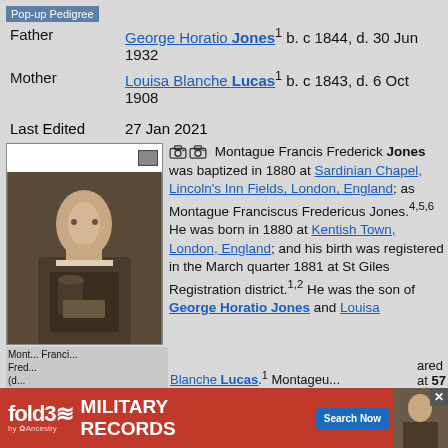Pop-up Pedigree
Father   George Horatio Jones¹ b. c 1844, d. 30 Jun 1932
Mother   Louisa Blanche Lucas¹ b. c 1843, d. 6 Oct 1908
Last Edited   27 Jan 2021
[Figure (photo): Black and white portrait photograph of Montague Francis Frederick Jones, a man with glasses in a suit with arms crossed]
Montague Francis Frederick Jones was baptized in 1880 at Sardinian Chapel, Lincoln's Inn Fields, London, England; as Montague Franciscus Fredericus Jones.4,5,6 He was born in 1880 at Kentish Town, London, England; and his birth was registered in the March quarter 1881 at St Giles Registration district.1,2 He was the son of George Horatio Jones and Louisa Blanche Lucas.1 Montague...
Montague Francis Frederick (d...
[Figure (screenshot): fold3 by Ancestry advertisement banner for Military Records with Search Now button]